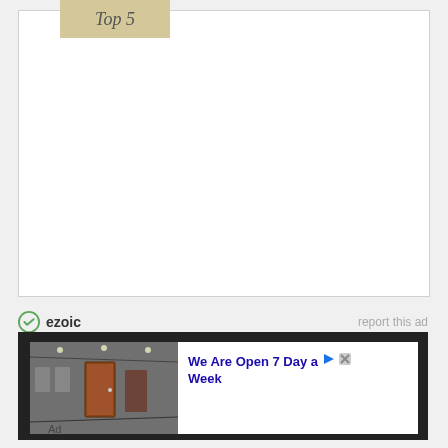Top 5
[Figure (other): Empty white content box with border]
ezoic   report this ad
[Figure (photo): Advertisement showing a showroom with doors. Text reads: We Are Open 7 Day a Week. Ad label at bottom.]